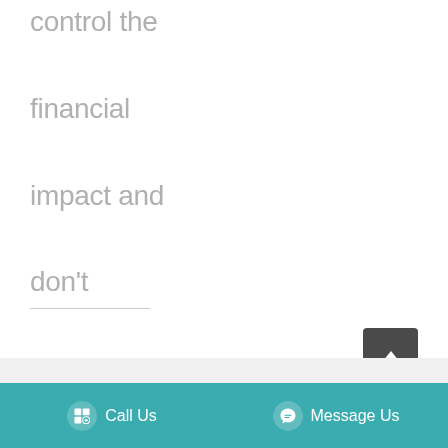control the financial impact and don't surrender control.
Call Us | Message Us